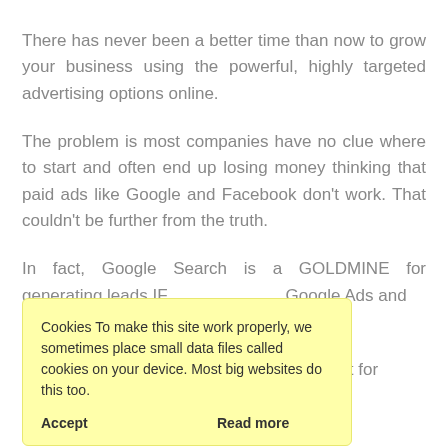There has never been a better time than now to grow your business using the powerful, highly targeted advertising options online.
The problem is most companies have no clue where to start and often end up losing money thinking that paid ads like Google and Facebook don't work. That couldn't be further from the truth.
In fact, Google Search is a GOLDMINE for generating leads IF you know how to harness the power of Google Ads and h[ow to implement the right strategy.] Our [step-by-step] guide gives you the exact blueprint for executing a winning ad strategy.
Cookies To make this site work properly, we sometimes place small data files called cookies on your device. Most big websites do this too.